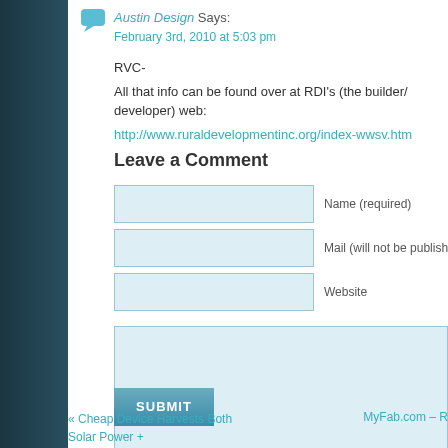Austin Design Says: February 3rd, 2010 at 5:03 pm
RVC-
All that info can be found over at RDI's (the builder/ developer) web: http://www.ruraldevelopmentinc.org/index-wwsv.htm
Leave a Comment
Name (required)
Mail (will not be published) (required)
Website
SUBMIT
« Cheap Device Harvests Both Solar Power + Waste Heat For Hot Water
MyFab.com – R